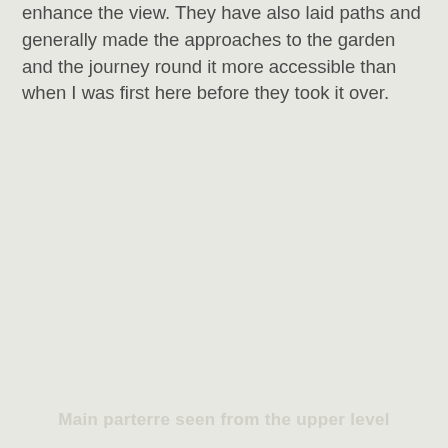enhance the view. They have also laid paths and generally made the approaches to the garden and the journey round it more accessible than when I was first here before they took it over.
Main parterre seen from the upper level